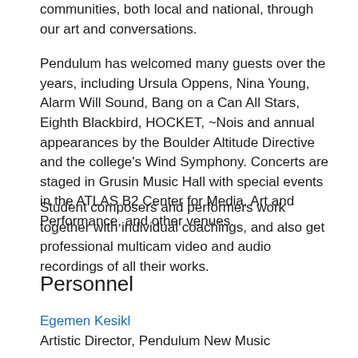communities, both local and national, through our art and conversations.
Pendulum has welcomed many guests over the years, including Ursula Oppens, Nina Young, Alarm Will Sound, Bang on a Can All Stars, Eighth Blackbird, HOCKET, ~Nois and annual appearances by the Boulder Altitude Directive and the college's Wind Symphony. Concerts are staged in Grusin Music Hall with special events in the ATLAS B2 Center for Media, Art and Performance, and other venues.
Student composers and performers work together with individual coachings, and also get professional multicam video and audio recordings of all their works.
Personnel
Egemen Kesikl
Artistic Director, Pendulum New Music